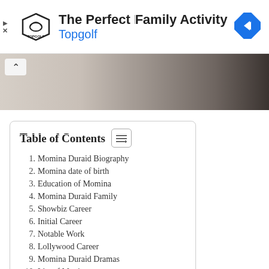[Figure (screenshot): Topgolf advertisement banner with logo, title 'The Perfect Family Activity', subtitle 'Topgolf', navigation icon, play and close controls.]
[Figure (photo): Partial photo strip showing a light-colored fabric or clothing item on the left and a dark wooden surface on the right, with a collapse chevron button.]
Table of Contents
1. Momina Duraid Biography
2. Momina date of birth
3. Education of Momina
4. Momina Duraid Family
5. Showbiz Career
6. Initial Career
7. Notable Work
8. Lollywood Career
9. Momina Duraid Dramas
10. List of Movies